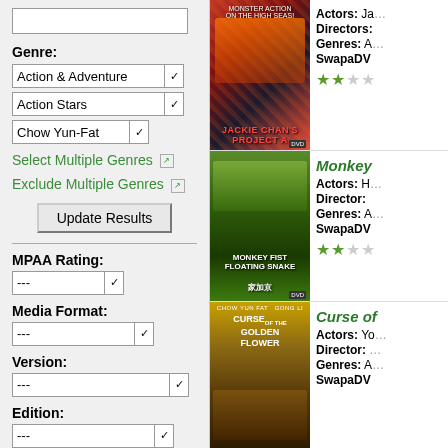[Figure (screenshot): Left panel filter sidebar with genre dropdowns, select multiple genres link, update results button, MPAA rating, media format, version, edition, screen type dropdowns]
[Figure (screenshot): Right panel showing movie listings: Jackie Chan's Project A, Monkey Fist Floating Snake, Curse of the Golden Flower with posters and metadata]